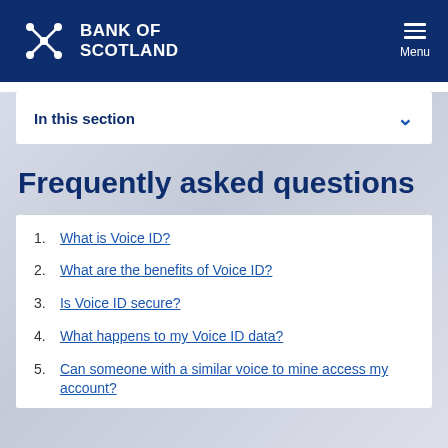BANK OF SCOTLAND
In this section
Frequently asked questions
1. What is Voice ID?
2. What are the benefits of Voice ID?
3. Is Voice ID secure?
4. What happens to my Voice ID data?
5. Can someone with a similar voice to mine access my account?